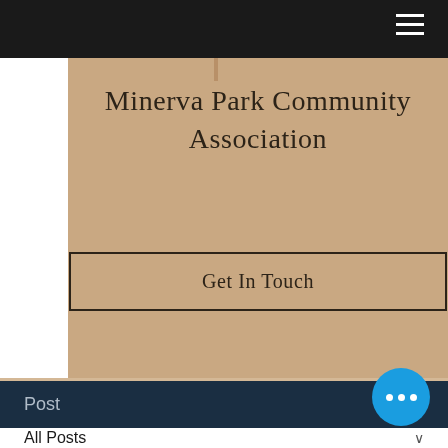Minerva Park Community Association
Get In Touch
Post
All Posts